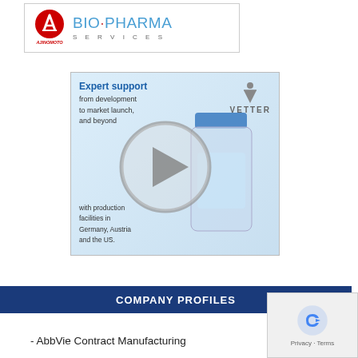[Figure (logo): Ajinomoto Bio-Pharma Services logo with red stylized circle and text]
[Figure (photo): Vetter advertisement showing a pharmaceutical vial with play button overlay. Text: 'Expert support from development to market launch, and beyond' and 'with production facilities in Germany, Austria and the US.' Vetter logo in top right.]
COMPANY PROFILES
- AbbVie Contract Manufacturing